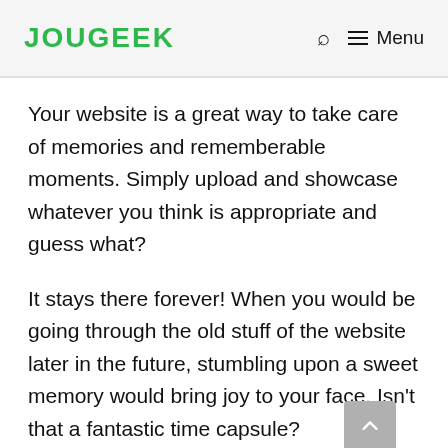JOUGEEK — Menu
Your website is a great way to take care of memories and rememberable moments. Simply upload and showcase whatever you think is appropriate and guess what?
It stays there forever! When you would be going through the old stuff of the website later in the future, stumbling upon a sweet memory would bring joy to your face. Isn't that a fantastic time capsule?
Store the best of your deals, events, pictures, blog